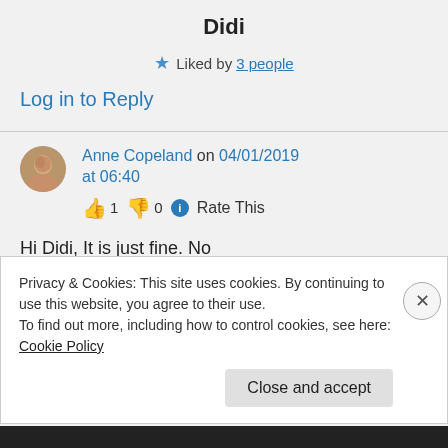Didi
★ Liked by 3 people
Log in to Reply
Anne Copeland on 04/01/2019 at 06:40
👍 1 👎 0 ℹ Rate This
Hi Didi, It is just fine. No
Privacy & Cookies: This site uses cookies. By continuing to use this website, you agree to their use.
To find out more, including how to control cookies, see here: Cookie Policy
Close and accept